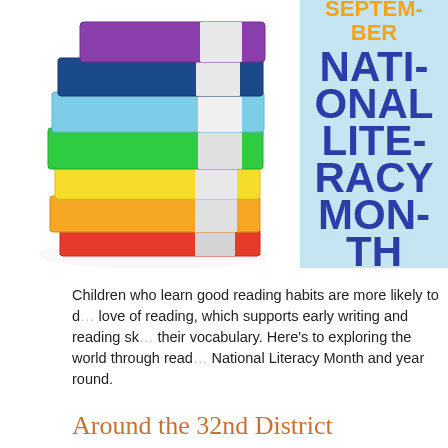[Figure (photo): Stack of colorful books (purple, blue, light blue, green, yellow, orange, red) on a white background]
[Figure (infographic): Light blue box with orange bold text 'SEPTEMBER' and large dark blue bold text 'NATIONAL LITERACY MONTH']
Children who learn good reading habits are more likely to develop a love of reading, which supports early writing and reading skills and builds their vocabulary. Here's to exploring the world through reading during National Literacy Month and year round.
Around the 32nd District